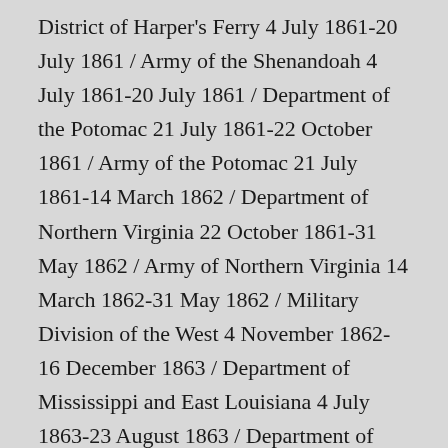District of Harper's Ferry 4 July 1861-20 July 1861 / Army of the Shenandoah 4 July 1861-20 July 1861 / Department of the Potomac 21 July 1861-22 October 1861 / Army of the Potomac 21 July 1861-14 March 1862 / Department of Northern Virginia 22 October 1861-31 May 1862 / Army of Northern Virginia 14 March 1862-31 May 1862 / Military Division of the West 4 November 1862-16 December 1863 / Department of Mississippi and East Louisiana 4 July 1863-23 August 1863 / Department of Mississippi and East Louisiana 2 December 1863-22 December 1863 / Department of Tennessee 16 December 1863-18 July 1864 / Army of Tennessee 27 December 1863-18 July 1864 / Department of South Carolina Georgia and Florida 22